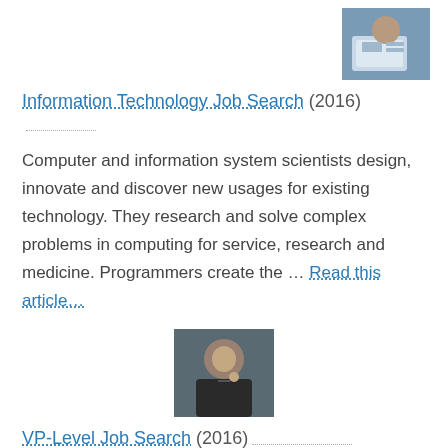[Figure (photo): Person working on a laptop, viewed from behind/above]
Information Technology Job Search (2016)
Computer and information system scientists design, innovate and discover new usages for existing technology. They research and solve complex problems in computing for service, research and medicine. Programmers create the … Read this article…
[Figure (photo): Portrait of a bald man in dark clothing pointing finger, professional headshot]
VP-Level Job Search (2016)
The responsibilities and duties of corporate vice presidents generally vary according to the company size, organizational structure, and area of expertise. A corporate VP is generally responsible for carrying out …